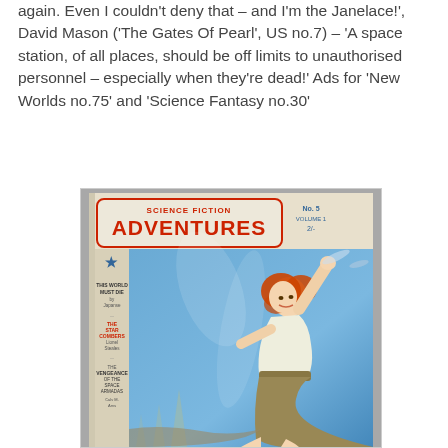again. Even I couldn't deny that – and I'm the Janelace!', David Mason ('The Gates Of Pearl', US no.7) – 'A space station, of all places, should be off limits to unauthorised personnel – especially when they're dead!' Ads for 'New Worlds no.75' and 'Science Fantasy no.30'
[Figure (photo): Cover of Science Fiction Adventures magazine, No. 5, Volume 1, 2/-. Shows a woman with red hair in a white outfit crouching in a dramatic pose against a blue sci-fi background. Spine text lists story titles including 'This World Must Die', 'The Star Combers', and 'Vengeance of the Space Armadas'.]